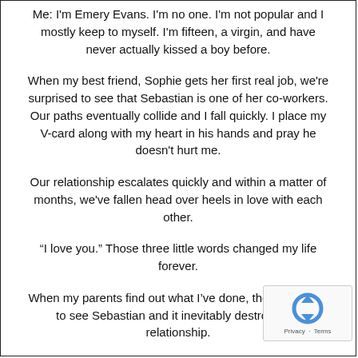Me: I'm Emery Evans. I'm no one. I'm not popular and I mostly keep to myself. I'm fifteen, a virgin, and have never actually kissed a boy before.
When my best friend, Sophie gets her first real job, we're surprised to see that Sebastian is one of her co-workers. Our paths eventually collide and I fall quickly. I place my V-card along with my heart in his hands and pray he doesn't hurt me.
Our relationship escalates quickly and within a matter of months, we've fallen head over heels in love with each other.
“I love you.” Those three little words changed my life forever.
When my parents find out what I’ve done, they forbid me to see Sebastian and it inevitably destroys our relationship.
It takes time, but eventually I move on.